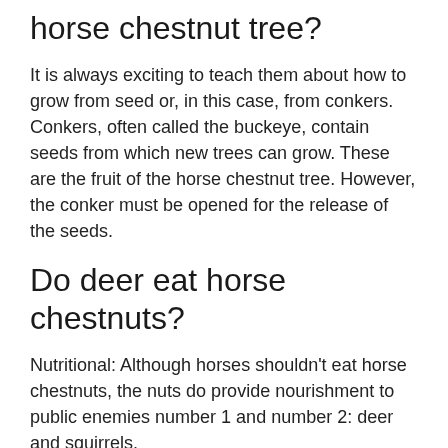horse chestnut tree?
It is always exciting to teach them about how to grow from seed or, in this case, from conkers. Conkers, often called the buckeye, contain seeds from which new trees can grow. These are the fruit of the horse chestnut tree. However, the conker must be opened for the release of the seeds.
Do deer eat horse chestnuts?
Nutritional: Although horses shouldn't eat horse chestnuts, the nuts do provide nourishment to public enemies number 1 and number 2: deer and squirrels.